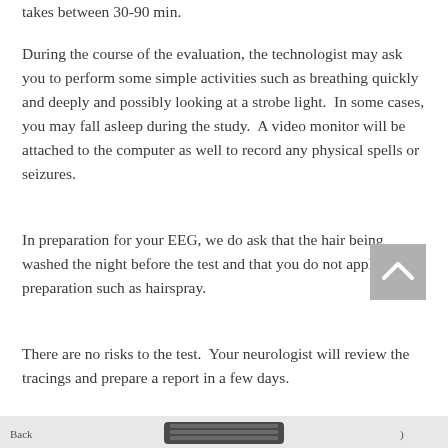takes between 30-90 min.
During the course of the evaluation, the technologist may ask you to perform some simple activities such as breathing quickly and deeply and possibly looking at a strobe light.  In some cases, you may fall asleep during the study.  A video monitor will be attached to the computer as well to record any physical spells or seizures.
In preparation for your EEG, we do ask that the hair being washed the night before the test and that you do not apply oily preparation such as hairspray.
There are no risks to the test.  Your neurologist will review the tracings and prepare a report in a few days.
[Figure (other): A scroll-to-top button (grey square with upward chevron arrow) and a partial view of a medical device at the bottom of the page.]